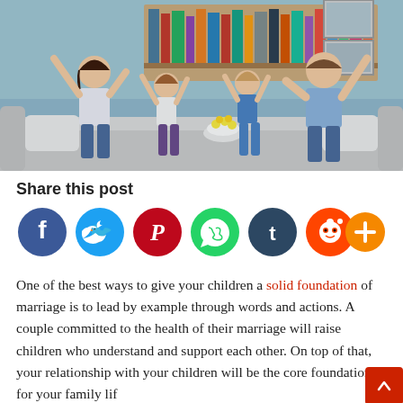[Figure (photo): A happy family of four — mother, father, and two young girls — sitting on a gray couch with arms raised in celebration, holding a bowl of popcorn. Bookshelves and picture frames visible in background.]
Share this post
[Figure (infographic): Row of social media share buttons: Facebook (dark blue), Twitter (light blue), Pinterest (red), WhatsApp (green), Tumblr (dark navy), Reddit (orange-red), More/Add (orange with plus sign)]
One of the best ways to give your children a solid foundation of marriage is to lead by example through words and actions. A couple committed to the health of their marriage will raise children who understand and support each other. On top of that, your relationship with your children will be the core foundation for your family life